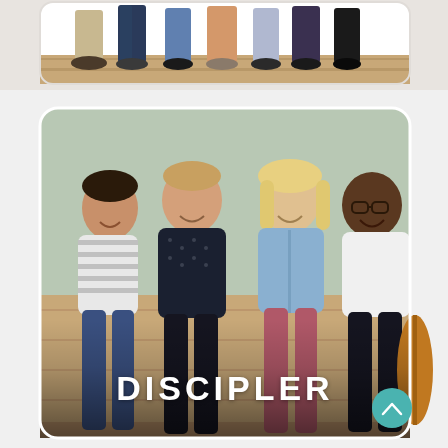[Figure (photo): Partial photo showing the lower bodies and feet of a group of people standing together on a wooden deck or floor, visible from approximately waist down.]
[Figure (photo): Photo of four smiling people sitting together on a couch or bench against a light green wall. From left to right: a woman in a striped shirt, a man in a dark dotted shirt, a blonde woman in a light blue denim jacket, and a bald man in a white t-shirt. The word DISCIPLER is overlaid in large bold white text across the lower middle of the photo. A teal scroll-to-top button is visible in the lower right corner.]